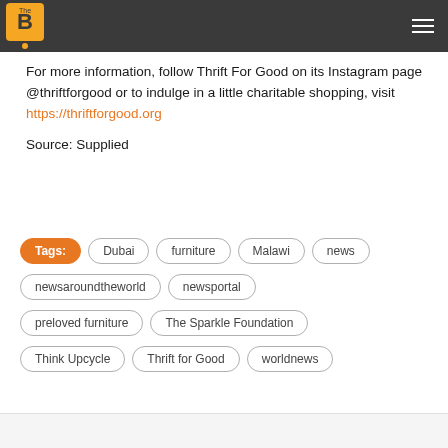The B [logo with hamburger menu]
For more information, follow Thrift For Good on its Instagram page @thriftforgood or to indulge in a little charitable shopping, visit https://thriftforgood.org
Source: Supplied
Tags: Dubai  furniture  Malawi  news  newsaroundtheworld  newsportal  preloved furniture  The Sparkle Foundation  Think Upcycle  Thrift for Good  worldnews